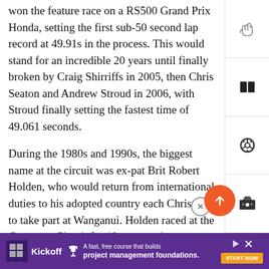won the feature race on a RS500 Grand Prix Honda, setting the first sub-50 second lap record at 49.91s in the process. This would stand for an incredible 20 years until finally broken by Craig Shirriffs in 2005, then Chris Seaton and Andrew Stroud in 2006, with Stroud finally setting the fastest time of 49.061 seconds.
During the 1980s and 1990s, the biggest name at the circuit was ex-pat Brit Robert Holden, who would return from international duties to his adopted country each Christmas to take part at Wanganui. Holden raced at the Cemetery Circuit for 19 consecutive years and at his last appearance in 1995 he started in twelve races in five
[Figure (other): Advertisement banner for Kickoff project management course with purple background, Kickoff logo, text 'A fast, free course that builds project management foundations.' and a START NOW button.]